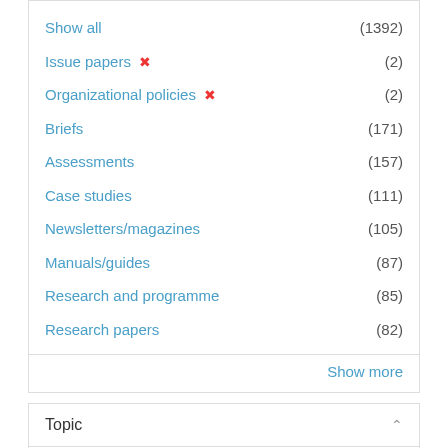Show all (1392)
Issue papers ✕ (2)
Organizational policies ✕ (2)
Briefs (171)
Assessments (157)
Case studies (111)
Newsletters/magazines (105)
Manuals/guides (87)
Research and programme (85)
Research papers (82)
Show more
Topic
Disaster risk reduction (2)
Ending violence against women and girls (2)
Climate change (1)
COVID-19 (1)